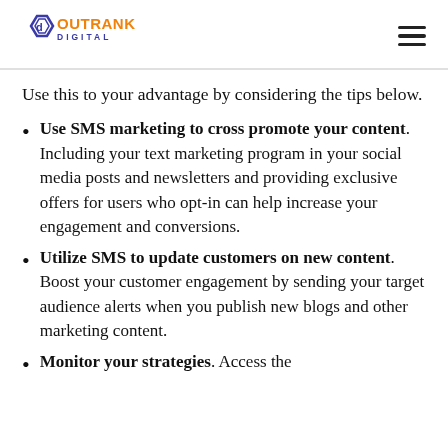Outrank Digital
Use this to your advantage by considering the tips below.
Use SMS marketing to cross promote your content. Including your text marketing program in your social media posts and newsletters and providing exclusive offers for users who opt-in can help increase your engagement and conversions.
Utilize SMS to update customers on new content. Boost your customer engagement by sending your target audience alerts when you publish new blogs and other marketing content.
Monitor your strategies. Access the...